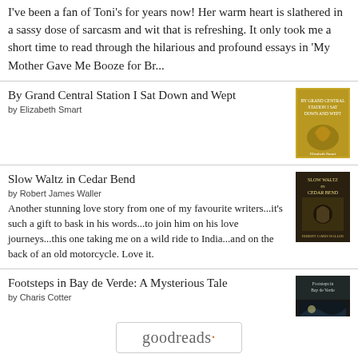I've been a fan of Toni's for years now! Her warm heart is slathered in a sassy dose of sarcasm and wit that is refreshing. It only took me a short time to read through the hilarious and profound essays in 'My Mother Gave Me Booze for Br...
By Grand Central Station I Sat Down and Wept
by Elizabeth Smart
Slow Waltz in Cedar Bend
by Robert James Waller
Another stunning love story from one of my favourite writers...it's such a gift to bask in his words...to join him on his love journeys...this one taking me on a wild ride to India...and on the back of an old motorcycle. Love it.
Footsteps in Bay de Verde: A Mysterious Tale
by Charis Cotter
[Figure (logo): goodreads logo with dot after the s]